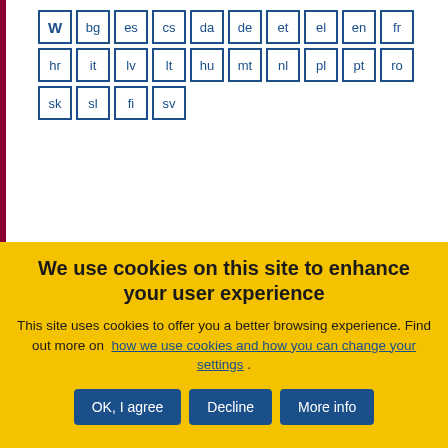[Figure (other): Language selector grid with boxes labeled W (bold), bg, es, cs, da, de, et, el, en, fr, hr, it, lv, lt, hu, mt, nl, pl, pt, ro, sk, sl, fi, sv]
Spirit drinks
Opinion
Aprobados on 29/03/2017
Referencia: NAT/701 EESC 2017
We use cookies on this site to enhance your user experience
This site uses cookies to offer you a better browsing experience. Find out more on how we use cookies and how you can change your settings .